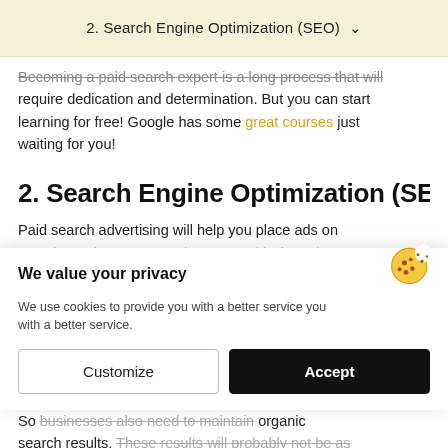2. Search Engine Optimization (SEO) ▾
Becoming a paid search expert is a long process that will require dedication and determination. But you can start learning for free! Google has some great courses just waiting for you!
2. Search Engine Optimization (SEO)
Paid search advertising will help you place ads on search results. But as we have stated before, those ads and not organic. People will be fully aware of the fact that you're an advertiser and some will require...
So businesses also need to maintain organic search results. These results will probably not be as targeted as paid search, but they will be drawing organic
[Figure (other): Cookie consent dialog overlay with cookie icon, title 'We value your privacy', body text about cookies, and two buttons: Customize and Accept]